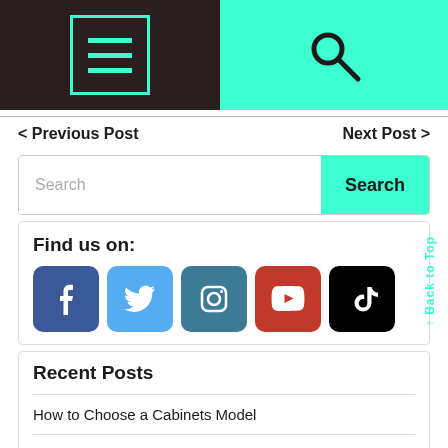Navigation header with hamburger menu and search icon
< Previous Post    Next Post >
Search
Find us on:
[Figure (illustration): Social media icons: Facebook, Twitter, Instagram, YouTube, TikTok]
Recent Posts
How to Choose a Cabinets Model
At Home Drug Test